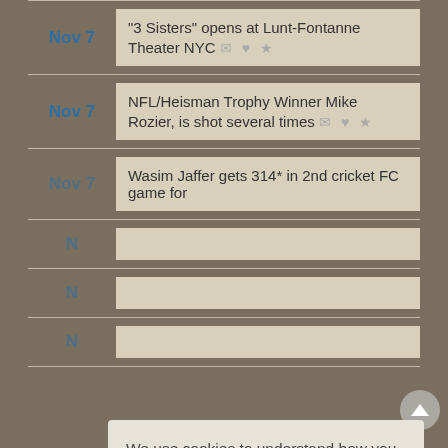Nov 7 — "3 Sisters" opens at Lunt-Fontanne Theater NYC
Nov 7 — NFL/Heisman Trophy Winner Mike Rozier, is shot several times
Nov 7 — Wasim Jaffer gets 314* in 2nd cricket FC game for
We use cookies to understand how you use our site and to improve your experience. This includes personalizing content for you and for the display and tracking of advertising. By continuing to use our site, you accept and agree to our use of cookies. Privacy Policy
Got it!